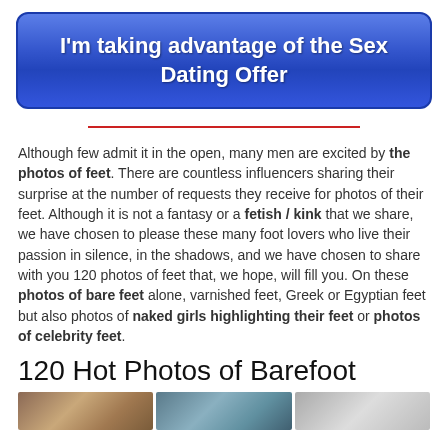I'm taking advantage of the Sex Dating Offer
Although few admit it in the open, many men are excited by the photos of feet. There are countless influencers sharing their surprise at the number of requests they receive for photos of their feet. Although it is not a fantasy or a fetish / kink that we share, we have chosen to please these many foot lovers who live their passion in silence, in the shadows, and we have chosen to share with you 120 photos of feet that, we hope, will fill you. On these photos of bare feet alone, varnished feet, Greek or Egyptian feet but also photos of naked girls highlighting their feet or photos of celebrity feet.
120 Hot Photos of Barefoot
[Figure (photo): Strip of three thumbnail photos at the bottom of the page]